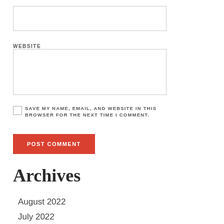[Figure (screenshot): Empty text input box (form field for website URL input)]
WEBSITE
[Figure (screenshot): Empty text input box (form field for website URL input)]
SAVE MY NAME, EMAIL, AND WEBSITE IN THIS BROWSER FOR THE NEXT TIME I COMMENT.
POST COMMENT
Archives
August 2022
July 2022